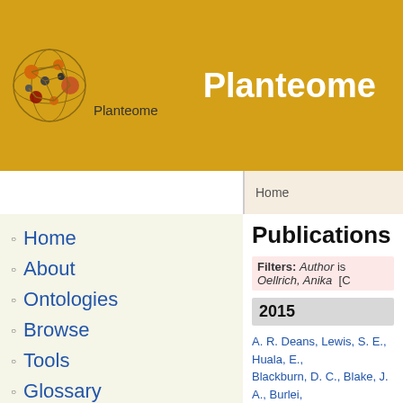Planteome
Home
About
Ontologies
Browse
Tools
Glossary
Request Terms
Documents
Publications
News/Blog
Outreach
Home
Publications
Filters: Author is Oellrich, Anika [C
2015
A. R. Deans, Lewis, S. E., Huala, E., Blackburn, D. C., Blake, J. A., Burlei, Csősz, S., Cui, H., Dahdul, W., Das, R. E., Dumontier, M., Franz, N. M., J., Hayamizu, T. F., He, Y., Hines, H. Zorn, C., Köhler, S., Lecointre, G., L G., Macklin, J., Mast, A. R., Midford, Sutherland, D., Parkinson, H., Rami A., Schulz, K. S., Segerdell, E., Selt